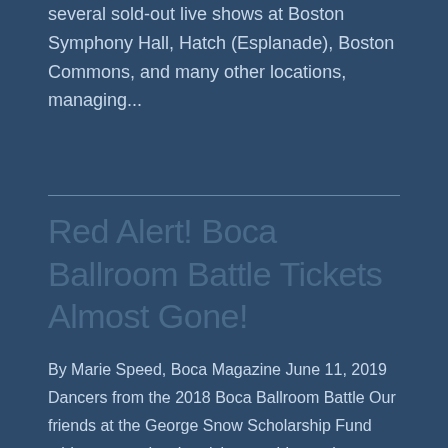several sold-out live shows at Boston Symphony Hall, Hatch (Esplanade), Boston Commons, and many other locations, managing...
Red Alert! Boca Ballroom Battle Tickets Almost Gone!
By Marie Speed, Boca Magazine June 11, 2019  Dancers from the 2018 Boca Ballroom Battle Our friends at the George Snow Scholarship Fund told us yesterday that tickets to this year's event on Sept. 20 are almost sold out. This is early for that to happen (although it invariably does) and we hear its...